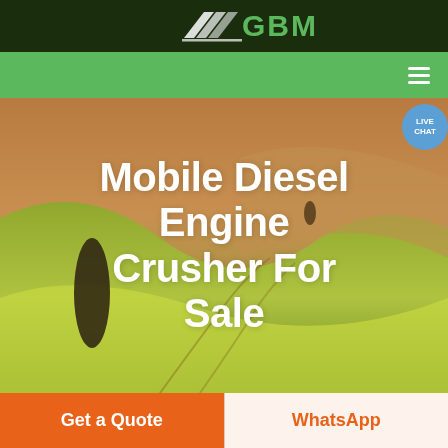[Figure (logo): GBM company logo with white chevron/arrow shapes on dark green background and green GBM text]
[Figure (screenshot): Green navigation bar with hamburger menu icon and live chat bubble on right side]
[Figure (photo): Aerial photo of agricultural fields with rolling hills in warm golden-green tones, with a dark cypress tree on left]
Mobile Diesel Engine Crusher For Sale
[Figure (infographic): Orange 'Get a Quote' button and cream 'WhatsApp' button side by side at bottom of page]